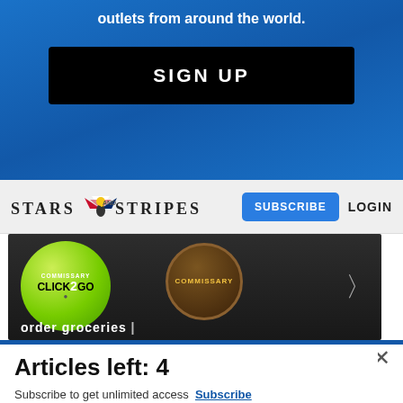outlets from around the world.
SIGN UP
[Figure (logo): Stars and Stripes newspaper logo with eagle emblem between words]
SUBSCRIBE
LOGIN
[Figure (screenshot): Commissary Click2Go advertisement banner with green circle badge and commissary round emblem, text 'order groceries | PICKUP']
Articles left: 4
Subscribe to get unlimited access  Subscribe
Already have an account?  Login here